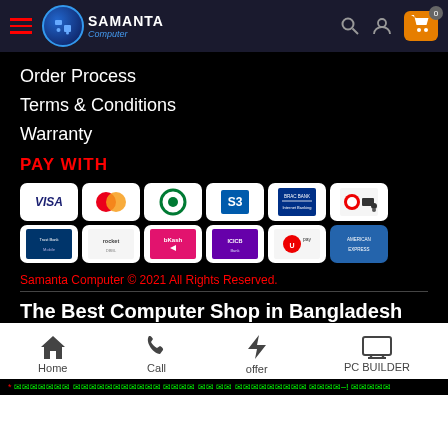[Figure (screenshot): Samanta Computer website header with logo, hamburger menu, search icon, user icon, and orange cart icon with badge showing 0]
Order Process
Terms & Conditions
Warranty
PAY WITH
[Figure (infographic): Payment method logos grid: Visa, Mastercard, OPayment, Dutch Bangla (Rocket), BRAC Bank, bKash mobile banking, and American Express among others in two rows of six]
Samanta Computer © 2021 All Rights Reserved.
The Best Computer Shop in Bangladesh
[Figure (infographic): Bottom navigation bar with Home, Call, offer, PC BUILDER icons]
* ✉✉✉✉✉✉✉ ✉✉✉✉✉✉✉✉✉✉✉ ✉✉✉✉ ✉✉ ✉✉ ✉✉✉✉✉✉✉✉✉ ✉✉✉✉–! ✉✉✉✉✉